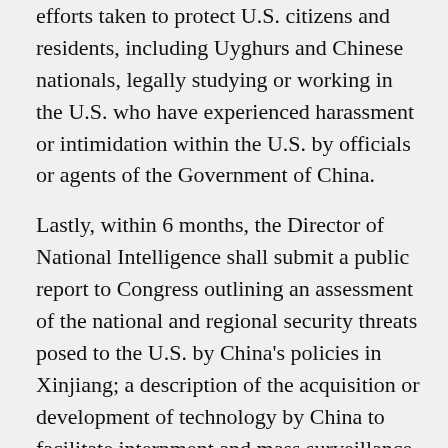efforts taken to protect U.S. citizens and residents, including Uyghurs and Chinese nationals, legally studying or working in the U.S. who have experienced harassment or intimidation within the U.S. by officials or agents of the Government of China.
Lastly, within 6 months, the Director of National Intelligence shall submit a public report to Congress outlining an assessment of the national and regional security threats posed to the U.S. by China's policies in Xinjiang; a description of the acquisition or development of technology by China to facilitate internment and mass surveillance in Xinjiang, including technology related to predictive policing, large-scale data collection and analysis, and threats the acquisition, development and use of this technology poses to the U.S.; and a list of Chinese companies involved in the construction or operation of internment